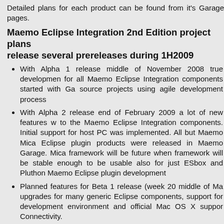Detailed plans for each product can be found from it's Garage pages.
Maemo Eclipse Integration 2nd Edition project plans release several prereleases during 1H2009
With Alpha 1 release middle of November 2008 true development for all Maemo Eclipse Integration components started with Garage source projects using agile development process
With Alpha 2 release end of February 2009 a lot of new features were added to the Maemo Eclipse Integration components. Initial support for host PC was implemented. All but Maemo Mica Eclipse plugin products were released in Maemo Garage. Mica framework will be future when framework will be stable enough to be usable also for just ESbox and Pluthon Maemo Eclipse plugin development
Planned features for Beta 1 release (week 20 middle of May): upgrades for many generic Eclipse components, support for development environment and official Mac OS X support Connectivity.
Maemo Eclipse Integration release versioning scheme Eclipse plugins
Eclipse Integration project, version numbers for plugin releases are composed of four (4) segments: 3 integers and a string respectively